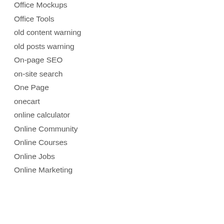Office Mockups
Office Tools
old content warning
old posts warning
On-page SEO
on-site search
One Page
onecart
online calculator
Online Community
Online Courses
Online Jobs
Online Marketing